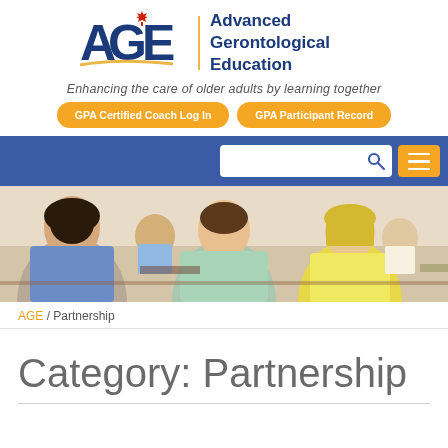[Figure (logo): Advanced Gerontological Education (AGE) logo with red maple leaf, blue AGE letters, yellow swoosh, and gold vertical divider next to organization name text]
Enhancing the care of older adults by learning together
GPA Certified Coach Log In
GPA Participant Record
[Figure (photo): Students in a classroom setting, showing three young adults in conversation, with more students visible in the background]
AGE / Partnership
Category: Partnership